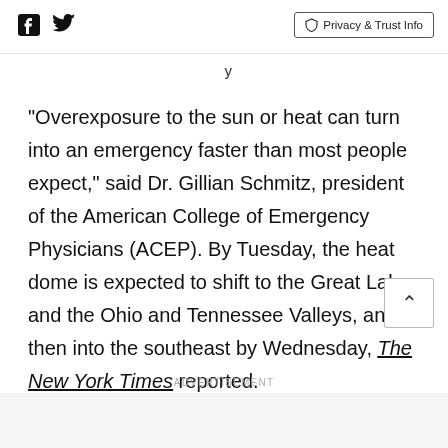[Facebook icon] [Twitter icon]   Privacy & Trust Info
"Overexposure to the sun or heat can turn into an emergency faster than most people expect," said Dr. Gillian Schmitz, president of the American College of Emergency Physicians (ACEP). By Tuesday, the heat dome is expected to shift to the Great Lakes and the Ohio and Tennessee Valleys, and then into the southeast by Wednesday, The New York Times reported.
Schmitz said Americans can enjoy the summer and
ADVERTISEMENT